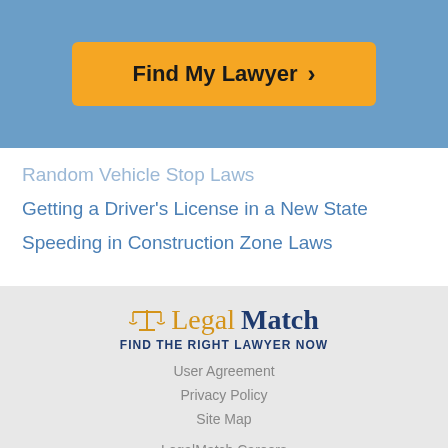[Figure (other): Blue header banner with orange 'Find My Lawyer >' button]
Random Vehicle Stop Laws
Getting a Driver's License in a New State
Speeding in Construction Zone Laws
[Figure (logo): LegalMatch logo with scales icon and tagline FIND THE RIGHT LAWYER NOW]
User Agreement
Privacy Policy
Site Map
LegalMatch Careers
[Figure (other): TRUSTe Certified Privacy Powered by TrustArc badge]